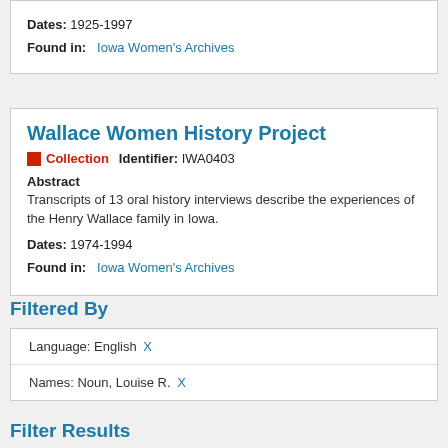Dates: 1925-1997
Found in: Iowa Women's Archives
Wallace Women History Project
Collection   Identifier: IWA0403
Abstract
Transcripts of 13 oral history interviews describe the experiences of the Henry Wallace family in Iowa.
Dates: 1974-1994
Found in: Iowa Women's Archives
Filtered By
Language: English X
Names: Noun, Louise R. X
Filter Results